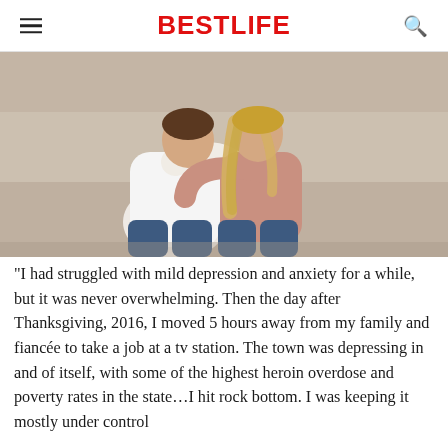BestLife
[Figure (photo): A couple sitting on a beige couch hugging each other; one person in a white t-shirt and jeans, the other in a mauve/pink top and jeans with blonde hair.]
"I had struggled with mild depression and anxiety for a while, but it was never overwhelming. Then the day after Thanksgiving, 2016, I moved 5 hours away from my family and fiancée to take a job at a tv station. The town was depressing in and of itself, with some of the highest heroin overdose and poverty rates in the state…I hit rock bottom. I was keeping it mostly under control